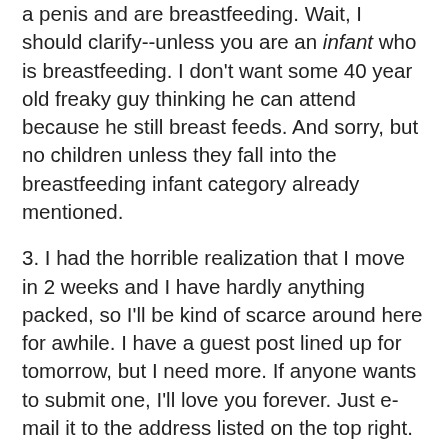a penis and are breastfeeding. Wait, I should clarify--unless you are an infant who is breastfeeding. I don't want some 40 year old freaky guy thinking he can attend because he still breast feeds. And sorry, but no children unless they fall into the breastfeeding infant category already mentioned.
3. I had the horrible realization that I move in 2 weeks and I have hardly anything packed, so I'll be kind of scarce around here for awhile. I have a guest post lined up for tomorrow, but I need more. If anyone wants to submit one, I'll love you forever. Just e-mail it to the address listed on the top right. And also? You don't have to think like me or write like me or even like me at all to write a post. Heck, write a post about why you hate me. As long as it's fairly well written I'll post it. I disagree with a few points in tomorrow's guest post, but it's still a good post and hopefully will generate some conversation in the comments.
4. Poll for the ladies: Are the males in your home expected to put the seat down after they pee? Do you teach your sons to always put it down when they're done? Does the male to female ratio in your home play any part in how it's done? I